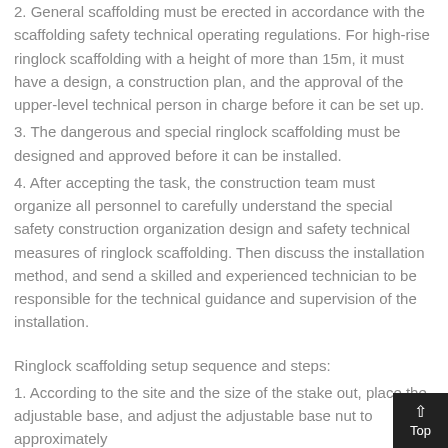2. General scaffolding must be erected in accordance with the scaffolding safety technical operating regulations. For high-rise ringlock scaffolding with a height of more than 15m, it must have a design, a construction plan, and the approval of the upper-level technical person in charge before it can be set up.
3. The dangerous and special ringlock scaffolding must be designed and approved before it can be installed.
4. After accepting the task, the construction team must organize all personnel to carefully understand the special safety construction organization design and safety technical measures of ringlock scaffolding. Then discuss the installation method, and send a skilled and experienced technician to be responsible for the technical guidance and supervision of the installation.
Ringlock scaffolding setup sequence and steps:
1. According to the site and the size of the stake out, place the adjustable base, and adjust the adjustable base nut to approximately